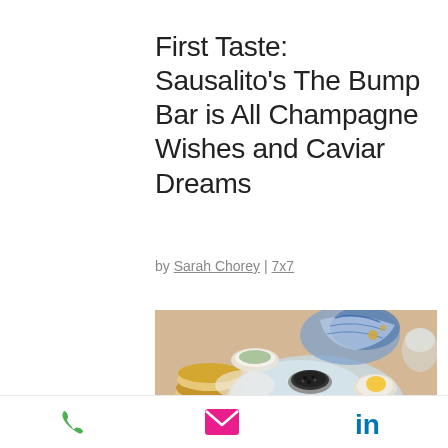First Taste: Sausalito's The Bump Bar is All Champagne Wishes and Caviar Dreams
by Sarah Chorey | 7x7
[Figure (photo): Caviar service on ice with blini and accompaniments on a table setting with blue and white decorative items]
phone | email | LinkedIn